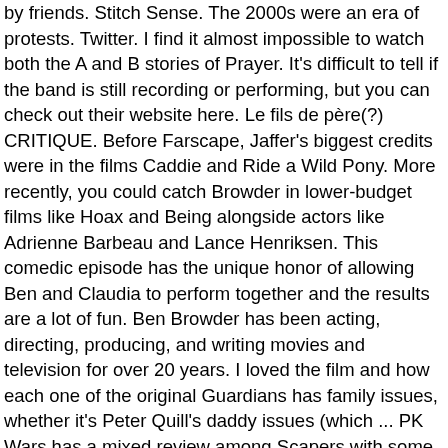by friends. Stitch Sense. The 2000s were an era of protests. Twitter. I find it almost impossible to watch both the A and B stories of Prayer. It's difficult to tell if the band is still recording or performing, but you can check out their website here. Le fils de père(?) CRITIQUE. Before Farscape, Jaffer's biggest credits were in the films Caddie and Ride a Wild Pony. More recently, you could catch Browder in lower-budget films like Hoax and Being alongside actors like Adrienne Barbeau and Lance Henriksen. This comedic episode has the unique honor of allowing Ben and Claudia to perform together and the results are a lot of fun. Ben Browder has been acting, directing, producing, and writing movies and television for over 20 years. I loved the film and how each one of the original Guardians has family issues, whether it's Peter Quill's daddy issues (which ... PK Wars has a mixed review among Scapers with some complaining that there isn't enough character moments especially between the secondary characters. Ben Browder Stargate Actors Twitter Adventure Adventure Game Adventure